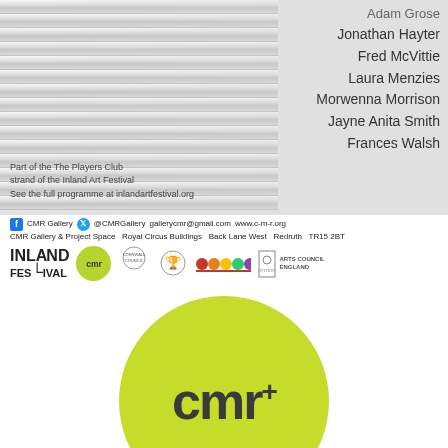[Figure (photo): Photo of venetian blinds (partially closed/open showing light), on left side. Right side overlaid with names: Adam Grose, Jonathan Hayter, Fred McVittie, Laura Menzies, Morwenna Morrison, Jayne Anita Smith, Frances Walsh]
Part of the The Players Club strand of the Inland Art Festival
See the full programme at inlandartfestival.org
CMR Gallery  @CMRGallery  gallerycmr@gmail.com  www.c-m-r.org
CMR Gallery & Project Space  Royal Circus Buildings  Back Lane West  Redruth  TR15 2BT
[Figure (logo): Inland Festival logo, cmr circle logo, Cornwall Council logo, other logos, ico logos, Arts Council England lottery funded logo]
[Figure (logo): Large lime green circle with 'cmr+' text in dark grey/charcoal bold font]